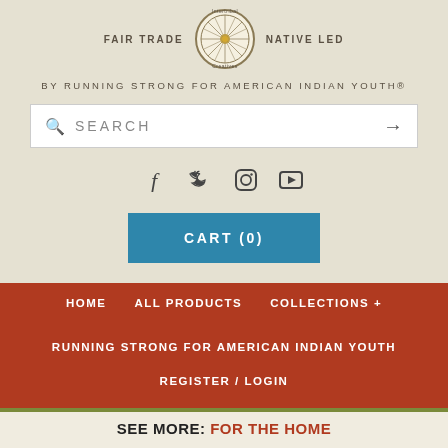[Figure (logo): Intertribal Creatives circular logo with dreamcatcher design, flanked by 'FAIR TRADE' on the left and 'NATIVE LED' on the right]
BY RUNNING STRONG FOR AMERICAN INDIAN YOUTH®
SEARCH
[Figure (infographic): Social media icons: Facebook, Twitter, Instagram, YouTube]
CART (0)
HOME
ALL PRODUCTS
COLLECTIONS +
RUNNING STRONG FOR AMERICAN INDIAN YOUTH
REGISTER / LOGIN
SEE MORE: FOR THE HOME